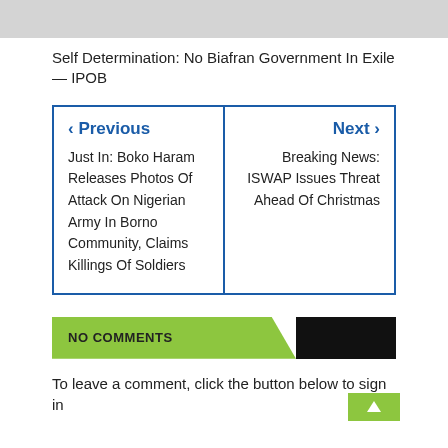[Figure (other): Gray banner/header bar at top of page]
Self Determination: No Biafran Government In Exile — IPOB
< Previous
Just In: Boko Haram Releases Photos Of Attack On Nigerian Army In Borno Community, Claims Killings Of Soldiers

Next >
Breaking News: ISWAP Issues Threat Ahead Of Christmas
NO COMMENTS
To leave a comment, click the button below to sign in